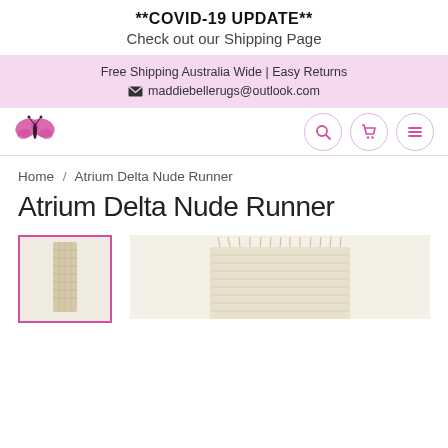**COVID-19 UPDATE** Check out our Shipping Page
Free Shipping Australia Wide | Easy Returns
maddiebellerugs@outlook.com
[Figure (logo): Pink butterfly logo and navigation icons (search, cart, menu) on a white navigation bar]
Home / Atrium Delta Nude Runner
Atrium Delta Nude Runner
[Figure (photo): Two rug thumbnails: a selected small thumbnail with pink border showing a vertical beige runner rug, and a larger main image showing a woven beige rug with fringe]